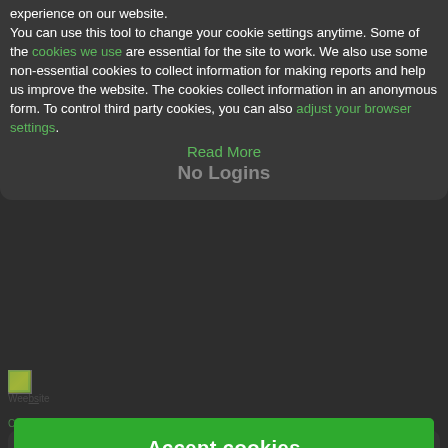experience on our website. You can use this tool to change your cookie settings anytime. Some of the cookies we use are essential for the site to work. We also use some non-essential cookies to collect information for making reports and help us improve the website. The cookies collect information in an anonymous form. To control third party cookies, you can also adjust your browser settings.
Read More
No Logins
[Figure (screenshot): Small image placeholder/thumbnail icon]
Website
Cookies
Accept cookies
[Figure (illustration): Chat/message bubble icon on dark rounded panel]
No Accounts to Set Up
No, thanks!